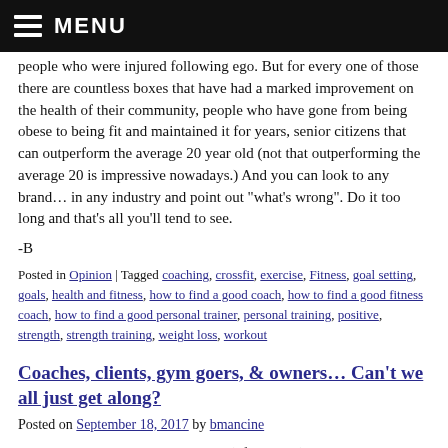MENU
people who were injured following ego. But for every one of those there are countless boxes that have had a marked improvement on the health of their community, people who have gone from being obese to being fit and maintained it for years, senior citizens that can outperform the average 20 year old (not that outperforming the average 20 is impressive nowadays.) And you can look to any brand… in any industry and point out "what's wrong". Do it too long and that's all you'll tend to see.
-B
Posted in Opinion | Tagged coaching, crossfit, exercise, Fitness, goal setting, goals, health and fitness, how to find a good coach, how to find a good fitness coach, how to find a good personal trainer, personal training, positive, strength, strength training, weight loss, workout
Coaches, clients, gym goers, & owners… Can't we all just get along?
Posted on September 18, 2017 by bmancine
Anyone who's spent time in a gym (of any size) knows that there